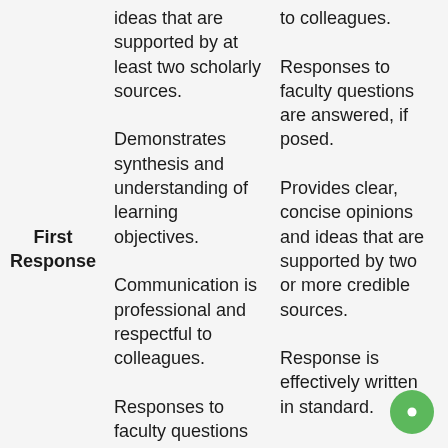|  | Column1 | Column2 | Column3 |
| --- | --- | --- | --- |
| First Response | ideas that are supported by at least two scholarly sources.

Demonstrates synthesis and understanding of learning objectives.

Communication is professional and respectful to colleagues.

Responses to faculty questions are fully answered. | to colleagues.

Responses to faculty questions are answered, if posed.

Provides clear, concise opinions and ideas that are supported by two or more credible sources.

Response is effectively written in standard. | lack effective professional communication

Responses to faculty questions somewhat answered if posed.

Responses lack clear concise opinions and ideas with few or no credible sources and cite |